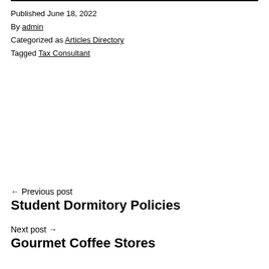Published June 18, 2022
By admin
Categorized as Articles Directory
Tagged Tax Consultant
← Previous post
Student Dormitory Policies
Next post →
Gourmet Coffee Stores